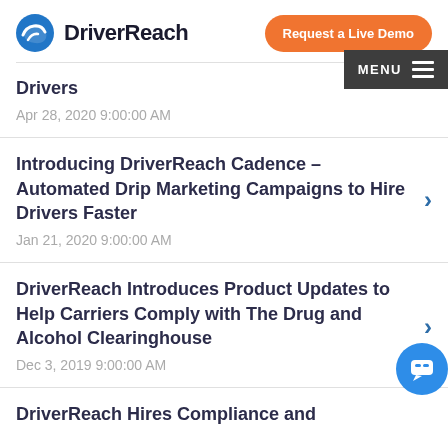DriverReach | Request a Live Demo
Drivers
Apr 28, 2020 9:00:00 AM
Introducing DriverReach Cadence – Automated Drip Marketing Campaigns to Hire Drivers Faster
Jan 21, 2020 9:00:00 AM
DriverReach Introduces Product Updates to Help Carriers Comply with The Drug and Alcohol Clearinghouse
Dec 3, 2019 9:00:00 AM
DriverReach Hires Compliance and…